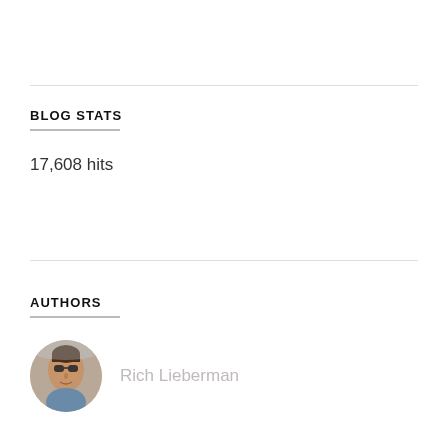BLOG STATS
17,608 hits
AUTHORS
[Figure (photo): Circular avatar photo of Rich Lieberman wearing sunglasses outdoors]
Rich Lieberman